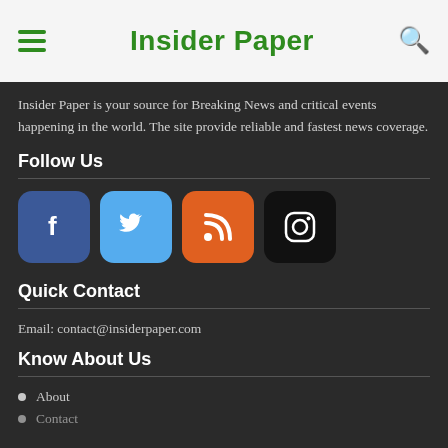Insider Paper
Insider Paper is your source for Breaking News and critical events happening in the world. The site provide reliable and fastest news coverage.
Follow Us
[Figure (infographic): Social media icons: Facebook (blue), Twitter (light blue), RSS (orange), Instagram (black)]
Quick Contact
Email: contact@insiderpaper.com
Know About Us
About
Contact